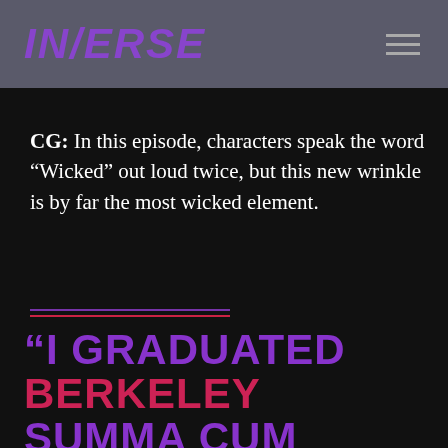INVERSE
CG: In this episode, characters speak the word “Wicked” out loud twice, but this new wrinkle is by far the most wicked element.
“I GRADUATED BERKELEY SUMMA CUM LAUDE” — KAREN MCLAREN, ON SOLVING RIDDLES